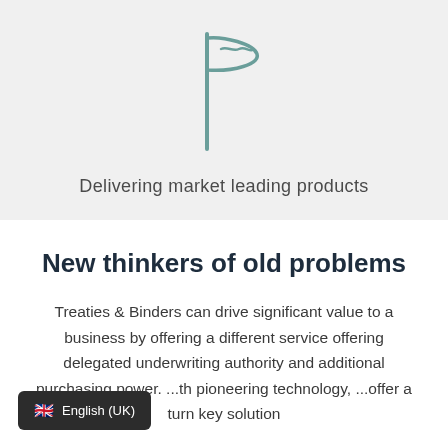[Figure (illustration): Outline icon of a waving flag on a pole, drawn in teal/muted green color on a light gray background]
Delivering market leading products
New thinkers of old problems
Treaties & Binders can drive significant value to a business by offering a different service offering delegated underwriting authority and additional purchasing power. ...th pioneering technology, ...offer a turn key solution
English (UK)